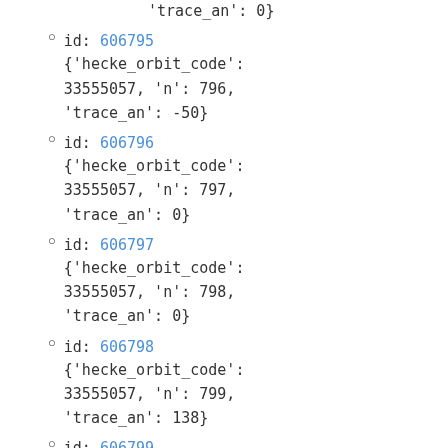'trace_an': 0}
id: 606795 {'hecke_orbit_code': 33555057, 'n': 796, 'trace_an': -50}
id: 606796 {'hecke_orbit_code': 33555057, 'n': 797, 'trace_an': 0}
id: 606797 {'hecke_orbit_code': 33555057, 'n': 798, 'trace_an': 0}
id: 606798 {'hecke_orbit_code': 33555057, 'n': 799, 'trace_an': 138}
id: 606799 {'hecke_orbit_code': 33555057, 'n': 800,